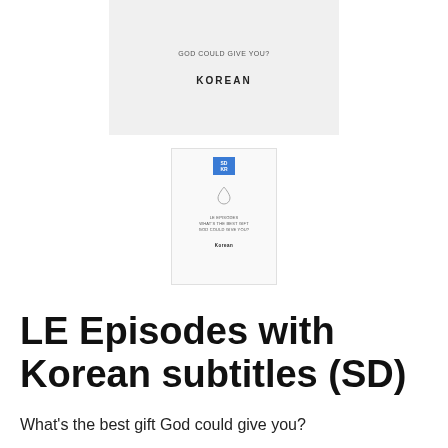[Figure (illustration): A light gray card/box showing text 'GOD COULD GIVE YOU?' and 'KOREAN' in bold centered text]
[Figure (illustration): A small product booklet/card with a blue SD logo, a water drop icon, small text lines, and Korean subtitle at bottom]
LE Episodes with Korean subtitles (SD)
What's the best gift God could give you?